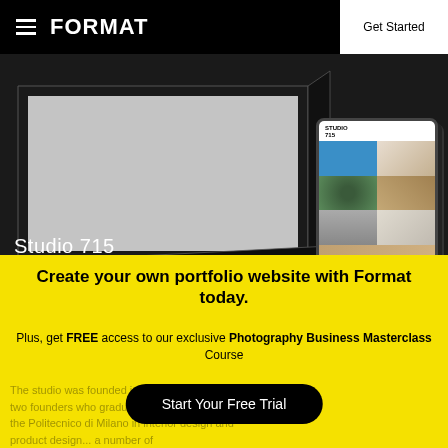FORMAT
Get Started
[Figure (screenshot): Website portfolio preview mockup showing a desktop monitor and mobile phone with Studio 715 portfolio template. Desktop shows a gray placeholder screen. Mobile shows a grid of 6 photograph thumbnails including blue, cream, green, tan, gray, and off-white images.]
Studio 715
Create your own portfolio website with Format today.
Plus, get FREE access to our exclusive Photography Business Masterclass Course
Start Your Free Trial
The studio was founded in 2012 by two founders who graduated from the Politecnico... design and product design... a number of